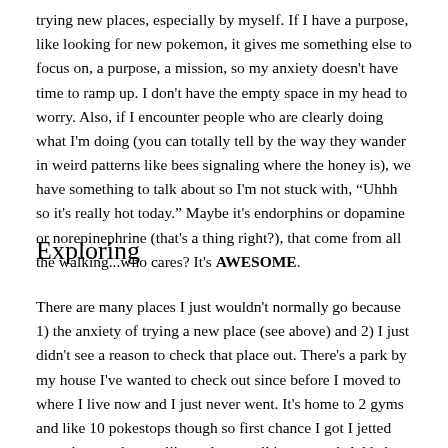trying new places, especially by myself. If I have a purpose, like looking for new pokemon, it gives me something else to focus on, a purpose, a mission, so my anxiety doesn't have time to ramp up. I don't have the empty space in my head to worry. Also, if I encounter people who are clearly doing what I'm doing (you can totally tell by the way they wander in weird patterns like bees signaling where the honey is), we have something to talk about so I'm not stuck with, “Uhhh so it's really hot today.” Maybe it's endorphins or dopamine or norepinephrine (that's a thing right?), that come from all the walking...who cares? It's AWESOME.
Exploring
There are many places I just wouldn't normally go because 1) the anxiety of trying a new place (see above) and 2) I just didn't see a reason to check that place out. There's a park by my house I've wanted to check out since before I moved to where I live now and I just never went. It's home to 2 gyms and like 10 pokestops though so first chance I got I jetted over there and spent like an hour walking around. Added bonus: It's SO nice to spend time outside and I don't even mind the aforementioned heat.